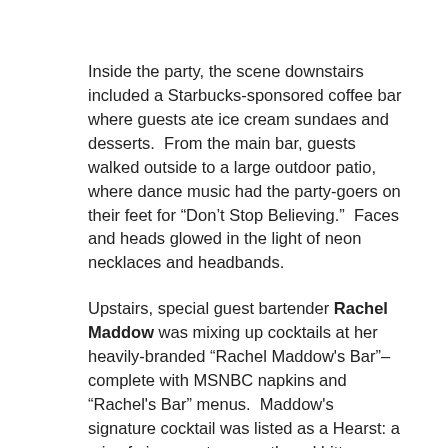Inside the party, the scene downstairs included a Starbucks-sponsored coffee bar where guests ate ice cream sundaes and desserts.  From the main bar, guests walked outside to a large outdoor patio, where dance music had the party-goers on their feet for “Don’t Stop Believing.”  Faces and heads glowed in the light of neon necklaces and headbands.
Upstairs, special guest bartender Rachel Maddow was mixing up cocktails at her heavily-branded “Rachel Maddow's Bar”– complete with MSNBC napkins and “Rachel's Bar” menus.  Maddow's signature cocktail was listed as a Hearst: a mix of gin, sweet vermouth and bitters (though she told us she actually served more of her cava drink, “Airmail” which mixed rum, fresh lime juice, honey and the bubbly cava on top).  Afterwards, Maddow relinquished her bar duties to catch up with Ana Marie Cox and John Hodgman.